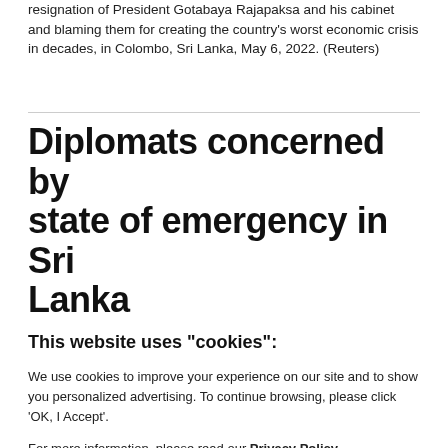resignation of President Gotabaya Rajapaksa and his cabinet and blaming them for creating the country's worst economic crisis in decades, in Colombo, Sri Lanka, May 6, 2022. (Reuters)
Diplomats concerned by state of emergency in Sri Lanka
This website uses "cookies":
We use cookies to improve your experience on our site and to show you personalized advertising. To continue browsing, please click 'OK, I Accept'.
For more information, please read our Privacy Policy
Ok, I Accept